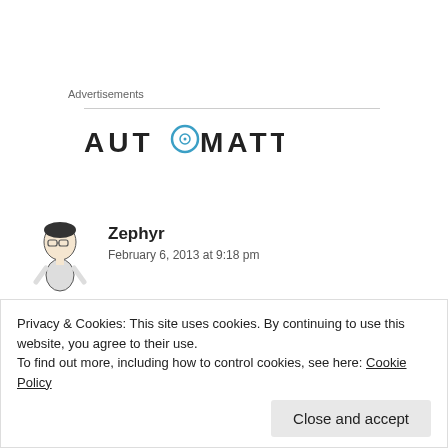Advertisements
[Figure (logo): Automattic logo — wordmark in dark gray/black uppercase letters with a blue circular target icon replacing the 'O' in AUTOMATTIC]
Zephyr
February 6, 2013 at 9:18 pm
Srini, I am going to ban What Ho for giving me a tummy ache
Privacy & Cookies: This site uses cookies. By continuing to use this website, you agree to their use.
To find out more, including how to control cookies, see here: Cookie Policy
Close and accept